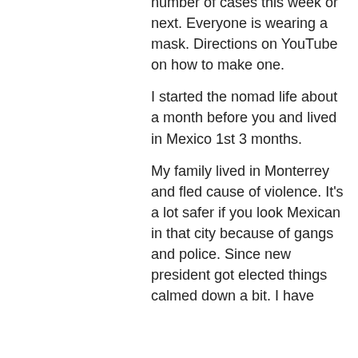number of cases this week or next. Everyone is wearing a mask. Directions on YouTube on how to make one. I started the nomad life about a month before you and lived in Mexico 1st 3 months. My family lived in Monterrey and fled cause of violence. It's a lot safer if you look Mexican in that city because of gangs and police. Since new president got elected things calmed down a bit. I have